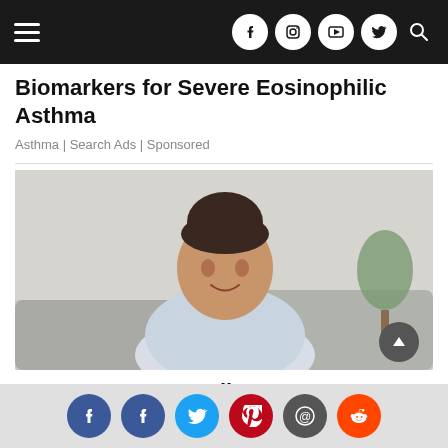Navigation header with hamburger menu and social/search icons
Biomarkers for Severe Eosinophilic Asthma
Asthma | Search Ads | Sponsored
[Figure (photo): Photo of a young woman with dark hair in a bun, smiling, wearing a light blue striped shirt, sitting indoors with a sofa and plant in the background.]
You May Want to Talk To A Doctor About Weight Loss Meds
Social share buttons: Facebook, Facebook, Twitter, Pinterest, Email, Reddit